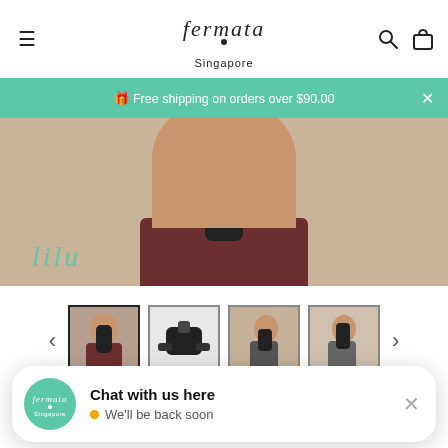fermata Singapore
🎁 Free shipping on orders over $90.00
[Figure (photo): Product photo showing back of model wearing dark brown/maroon shorts with black massager device, on a beige background, with 'lilu' brand text in teal]
[Figure (photo): Thumbnail 1 (active): Woman holding Lilu massage device]
[Figure (photo): Thumbnail 2: Black massage device flat lay]
[Figure (photo): Thumbnail 3: Woman wearing device from side]
[Figure (photo): Thumbnail 4: Woman holding device from another angle]
Lilu Hands-Free Massage
Chat with us here
We'll be back soon